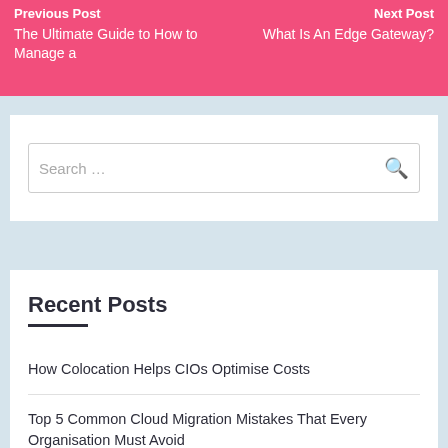Previous Post: The Ultimate Guide to How to Manage a | Next Post: What Is An Edge Gateway?
Search …
Recent Posts
How Colocation Helps CIOs Optimise Costs
Top 5 Common Cloud Migration Mistakes That Every Organisation Must Avoid
5 Ways To Protect Your Company From A Data Breach